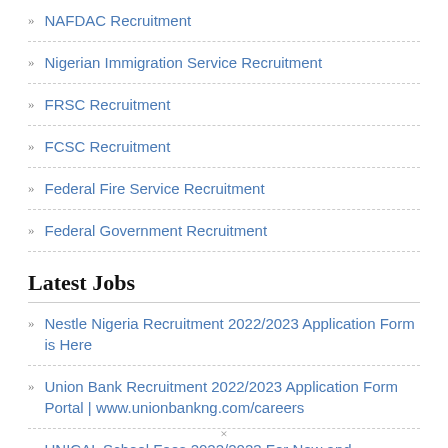NAFDAC Recruitment
Nigerian Immigration Service Recruitment
FRSC Recruitment
FCSC Recruitment
Federal Fire Service Recruitment
Federal Government Recruitment
Latest Jobs
Nestle Nigeria Recruitment 2022/2023 Application Form is Here
Union Bank Recruitment 2022/2023 Application Form Portal | www.unionbankng.com/careers
UNICAL School Fees 2022/2023 For New and Returning Students | University Of Calabar School Fees
×